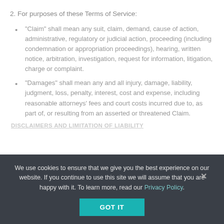2. For purposes of these Terms of Service:
“Claim” shall mean any suit, claim, demand, cause of action, administrative, regulatory or judicial action, proceeding (including condemnation or appropriation proceedings), hearing, written notice, arbitration, investigation, request for information, litigation, charge or complaint.
“Damages” shall mean any and all injury, damage, liability, judgment, loss, penalty, interest, cost and expense, including reasonable attorneys’ fees and court costs incurred due to, as part of, or resulting from an asserted or threatened Claim.
DISCLAIMERS AND LIMITATION OF LIABILITY
We use cookies to ensure that we give you the best experience on our website. If you continue to use this site we will assume that you are happy with it. To learn more, read our Privacy Policy.